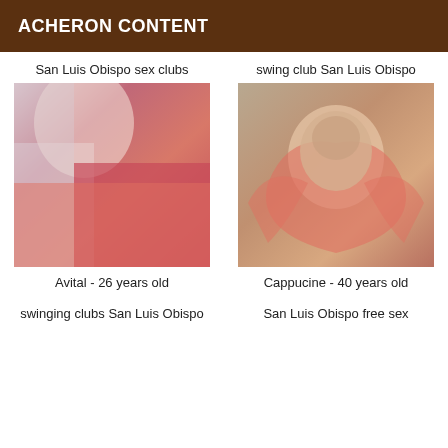ACHERON CONTENT
San Luis Obispo sex clubs
[Figure (photo): Blurry close-up photo of a young woman with long blonde hair wearing a red top]
Avital - 26 years old
swinging clubs San Luis Obispo
swing club San Luis Obispo
[Figure (photo): Photo of a smiling Asian woman holding a large red heart-shaped balloon, wearing a pink top]
Cappucine - 40 years old
San Luis Obispo free sex